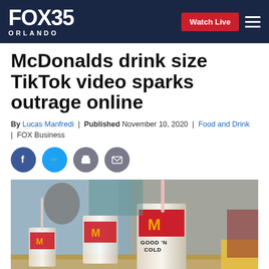FOX 35 ORLANDO | Watch Live
McDonalds drink size TikTok video sparks outrage online
By Lucas Manfredi | Published November 10, 2020 | Food and Drink | FOX Business
[Figure (photo): McDonald's drinks cups with GOOD 'N COLD branding displayed on a table inside a McDonald's restaurant, with people in the background]